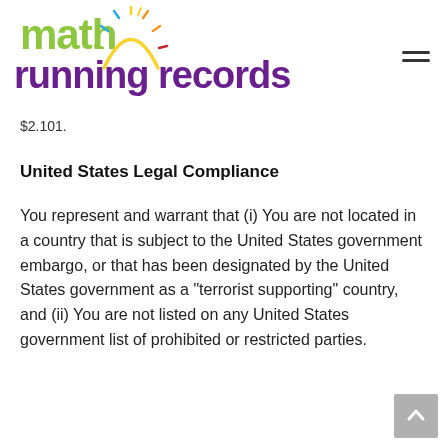math running records
$2.101.
United States Legal Compliance
You represent and warrant that (i) You are not located in a country that is subject to the United States government embargo, or that has been designated by the United States government as a “terrorist supporting” country, and (ii) You are not listed on any United States government list of prohibited or restricted parties.